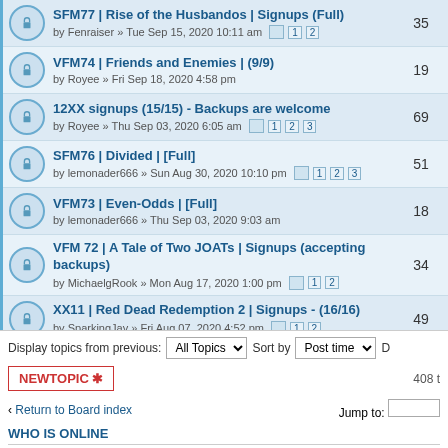SFM77 | Rise of the Husbandos | Signups (Full) by Fenraiser » Tue Sep 15, 2020 10:11 am — 35 replies
VFM74 | Friends and Enemies | (9/9) by Royee » Fri Sep 18, 2020 4:58 pm — 19 replies
12XX signups (15/15) - Backups are welcome by Royee » Thu Sep 03, 2020 6:05 am — 69 replies
SFM76 | Divided | [Full] by lemonader666 » Sun Aug 30, 2020 10:10 pm — 51 replies
VFM73 | Even-Odds | [Full] by lemonader666 » Thu Sep 03, 2020 9:03 am — 18 replies
VFM 72 | A Tale of Two JOATs | Signups (accepting backups) by MichaelgRook » Mon Aug 17, 2020 1:00 pm — 34 replies
XX11 | Red Dead Redemption 2 | Signups - (16/16) by SparkingJay » Fri Aug 07, 2020 4:52 pm — 49 replies
Display topics from previous: All Topics | Sort by Post time
NEWTOPIC ✱   408 t
‹ Return to Board index   Jump to:
WHO IS ONLINE